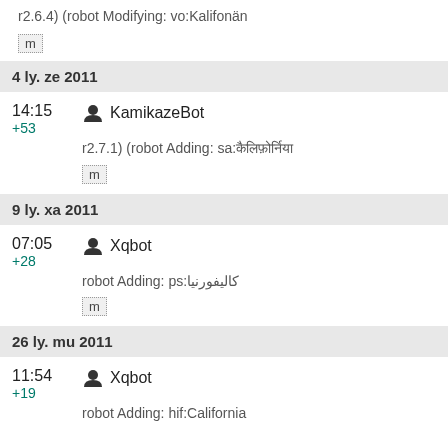r2.6.4) (robot Modifying: vo:Kalifonän
m
4 ly. ze 2011
14:15
+53
KamikazeBot
r2.7.1) (robot Adding: sa:कैलिफोर्निया
m
9 ly. xa 2011
07:05
+28
Xqbot
robot Adding: ps:کالیفورنیا
m
26 ly. mu 2011
11:54
+19
Xqbot
robot Adding: hif:California